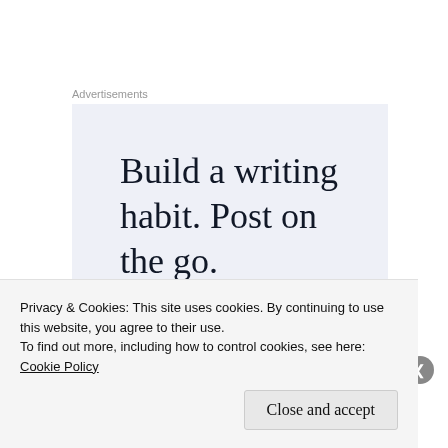Advertisements
[Figure (other): Advertisement banner with light blue-grey background and large serif text reading 'Build a writing habit. Post on the go.']
1. The language you use is important. Sustainability, the SDGs, Responsible...
Privacy & Cookies: This site uses cookies. By continuing to use this website, you agree to their use. To find out more, including how to control cookies, see here: Cookie Policy
Close and accept